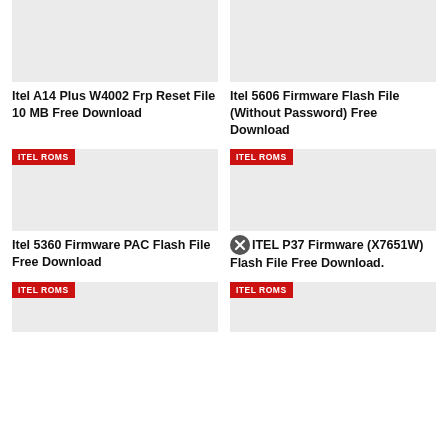[Figure (screenshot): Placeholder image for Itel A14 Plus W4002 article, light gray rectangle]
Itel A14 Plus W4002 Frp Reset File 10 MB Free Download
[Figure (screenshot): Placeholder image for Itel 5606 Firmware Flash File article, light gray rectangle]
Itel 5606 Firmware Flash File (Without Password) Free Download
[Figure (screenshot): Placeholder image with ITEL ROMS badge for Itel 5360 Firmware PAC Flash File article]
Itel 5360 Firmware PAC Flash File Free Download
[Figure (screenshot): Placeholder image with ITEL ROMS badge for ITEL P37 Firmware article, with close/x icon overlay]
ITEL P37 Firmware (X7651W) Flash File Free Download.
[Figure (screenshot): Partial placeholder image with ITEL ROMS badge, bottom left]
[Figure (screenshot): Partial placeholder image with ITEL ROMS badge, bottom right]